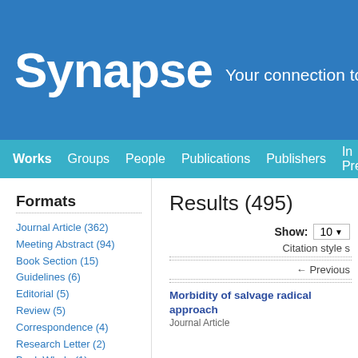Synapse  Your connection to MSK
Works  Groups  People  Publications  Publishers  In Press  COVID-1
Formats
Journal Article (362)
Meeting Abstract (94)
Book Section (15)
Guidelines (6)
Editorial (5)
Review (5)
Correspondence (4)
Research Letter (2)
Book Whole (1)
Conference Paper (1)
Results (495)
Show: 10
Citation style s
← Previous
Morbidity of salvage radical approach
Journal Article